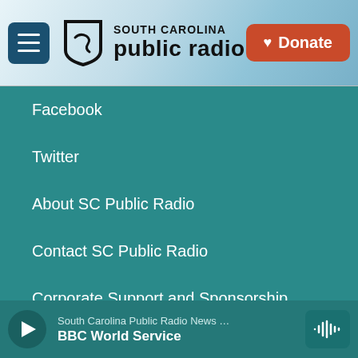South Carolina Public Radio — Donate
Facebook
Twitter
About SC Public Radio
Contact SC Public Radio
Corporate Support and Sponsorship
SC Public Radio Staff
Privacy Policy
Sign up for our newsletter
South Carolina Public Radio News … BBC World Service